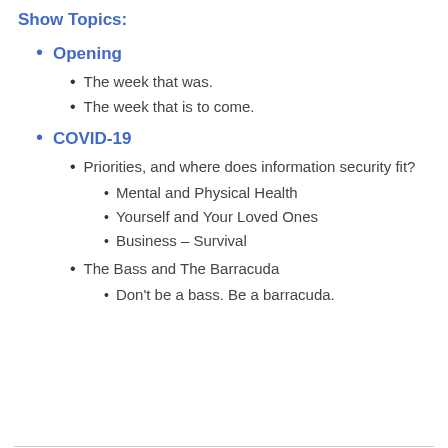Show Topics:
Opening
The week that was.
The week that is to come.
COVID-19
Priorities, and where does information security fit?
Mental and Physical Health
Yourself and Your Loved Ones
Business – Survival
The Bass and The Barracuda
Don't be a bass. Be a barracuda.